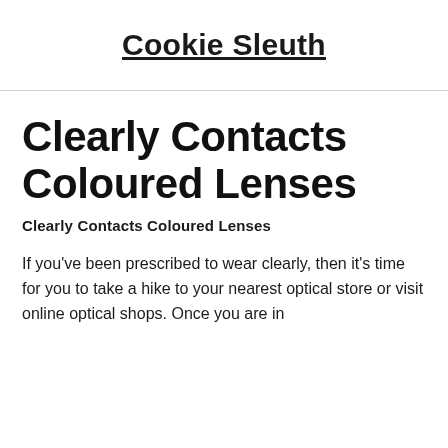Cookie Sleuth
Clearly Contacts Coloured Lenses
Clearly Contacts Coloured Lenses
If you've been prescribed to wear clearly, then it's time for you to take a hike to your nearest optical store or visit online optical shops. Once you are in